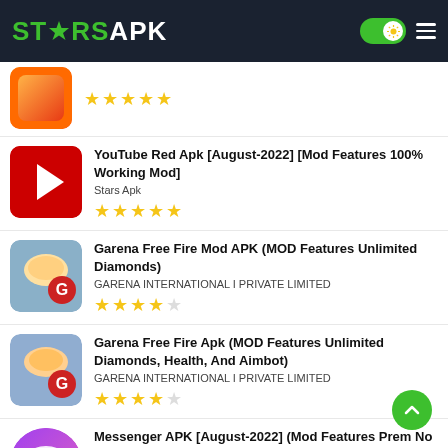STARSAPK
(partial app, 5 stars rating)
YouTube Red Apk [August-2022] [Mod Features 100% Working Mod] — Stars Apk — 5 stars
Garena Free Fire Mod APK (MOD Features Unlimited Diamonds) — GARENA INTERNATIONAL I PRIVATE LIMITED — 4 stars
Garena Free Fire Apk (MOD Features Unlimited Diamonds, Health, And Aimbot) — GARENA INTERNATIONAL I PRIVATE LIMITED — 4 stars
Messenger APK [August-2022] (Mod Features Premium No Ads) — (partial)